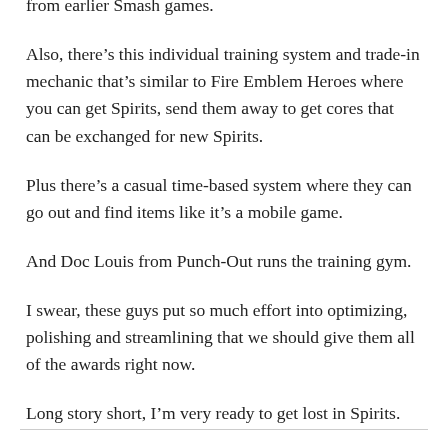from earlier Smash games.
Also, there’s this individual training system and trade-in mechanic that’s similar to Fire Emblem Heroes where you can get Spirits, send them away to get cores that can be exchanged for new Spirits.
Plus there’s a casual time-based system where they can go out and find items like it’s a mobile game.
And Doc Louis from Punch-Out runs the training gym.
I swear, these guys put so much effort into optimizing, polishing and streamlining that we should give them all of the awards right now.
Long story short, I’m very ready to get lost in Spirits.